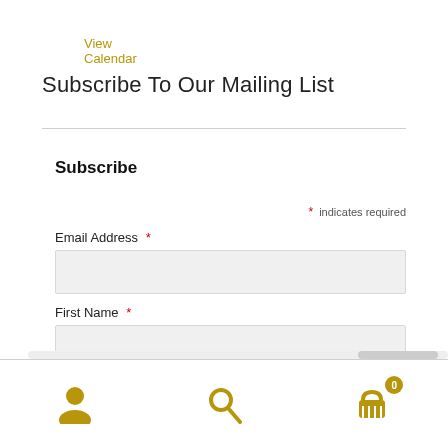View Calendar
Subscribe To Our Mailing List
Subscribe
* indicates required
Email Address *
First Name *
[Figure (infographic): Bottom navigation bar with user account icon (gold), search icon (gold), and shopping cart icon with badge showing 0 (gold)]